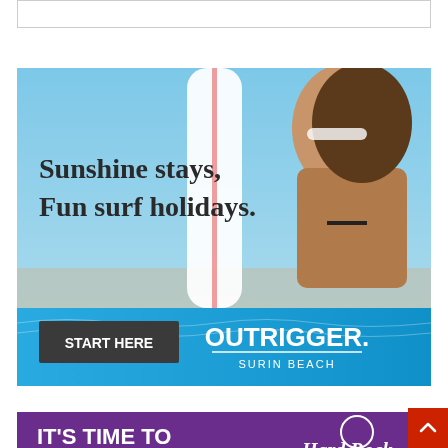[Figure (other): Empty white banner/placeholder box at the top of the page]
[Figure (illustration): Outrigger Surin Beach advertisement. Shows a woman holding a surfboard on a sunny beach, looking upward. Text reads 'Sunshine stays, Fun surf holidays.' with a 'START HERE' button and the OUTRIGGER SURIN BEACH logo on a blue bar at the bottom.]
[Figure (illustration): Hard Rock Hotel advertisement. Purple background with white text reading 'IT'S TIME TO BREAKFREE' and the Hard Rock logo on the right.]